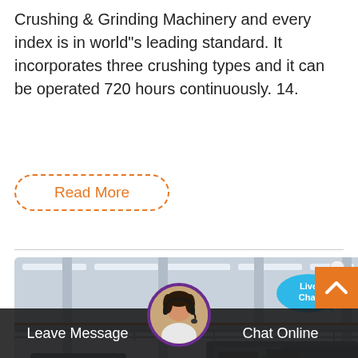Crushing & Grinding Machinery and every index is in world"s leading standard. It incorporates three crushing types and it can be operated 720 hours continuously. 14.
Read More
[Figure (photo): Interior of an industrial facility showing crushing/grinding machinery on a production floor, with overhead structural beams, fluorescent lighting, and large grey industrial machines.]
Live Chat
Leave Message
Chat Online